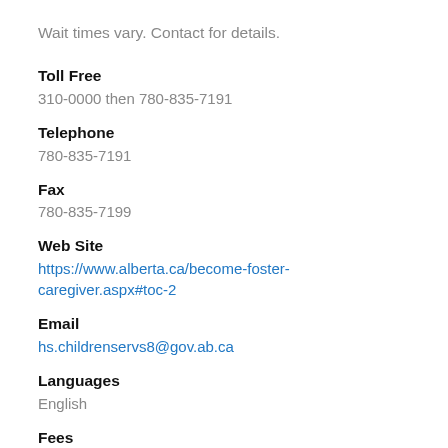Wait times vary. Contact for details.
Toll Free
310-0000 then 780-835-7191
Telephone
780-835-7191
Fax
780-835-7199
Web Site
https://www.alberta.ca/become-foster-caregiver.aspx#toc-2
Email
hs.childrenservs8@gov.ab.ca
Languages
English
Fees
Fee: Yes